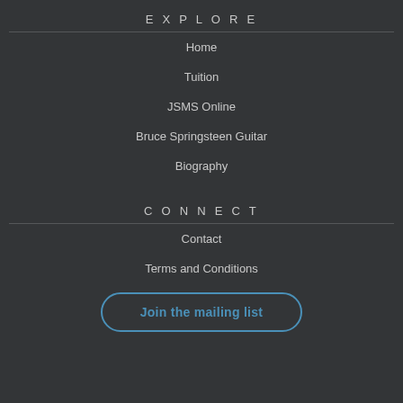EXPLORE
Home
Tuition
JSMS Online
Bruce Springsteen Guitar
Biography
CONNECT
Contact
Terms and Conditions
Join the mailing list